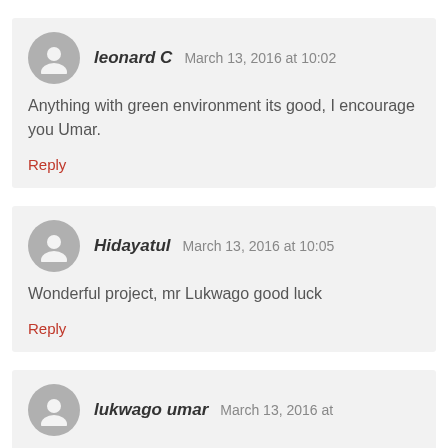leonard C   March 13, 2016 at 10:02
Anything with green environment its good, I encourage you Umar.
Reply
Hidayatul   March 13, 2016 at 10:05
Wonderful project, mr Lukwago good luck
Reply
lukwago umar   March 13, 2016 at